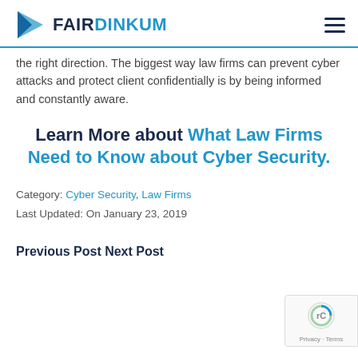FAIR DINKUM
the right direction. The biggest way law firms can prevent cyber attacks and protect client confidentially is by being informed and constantly aware.
Learn More about What Law Firms Need to Know about Cyber Security.
Category: Cyber Security, Law Firms
Last Updated: On January 23, 2019
Previous Post Next Post